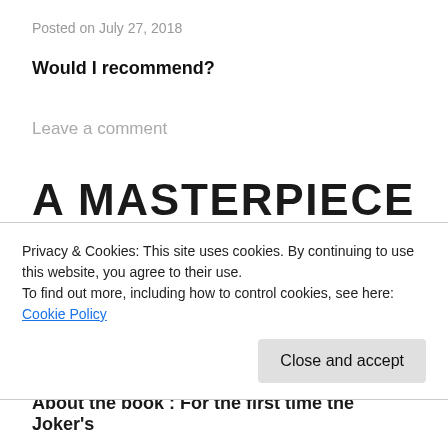Posted on July 27, 2018
Would I recommend?
Leave a comment
A MASTERPIECE OF JOKER ORIGINS : THE KILLING JOKE BY ALAN MOORE AND BRIAN
Privacy & Cookies: This site uses cookies. By continuing to use this website, you agree to their use.
To find out more, including how to control cookies, see here: Cookie Policy
Close and accept
About the book : For the first time the Joker's